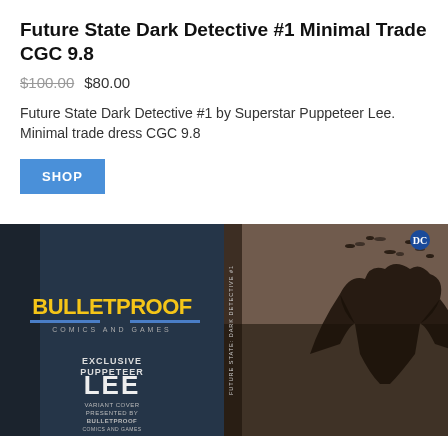Future State Dark Detective #1 Minimal Trade CGC 9.8
$100.00  $80.00
Future State Dark Detective #1 by Superstar Puppeteer Lee. Minimal trade dress CGC 9.8
[Figure (other): SHOP button]
[Figure (photo): Comic book cover image showing Bulletproof Comics and Games exclusive Puppeteer Lee variant cover of Future State Dark Detective #1, with a Batman figure on dark atmospheric background with bats. Left side shows back cover with BULLETPROOF COMICS AND GAMES logo and EXCLUSIVE PUPPETEER LEE VARIANT COVER text. Right side shows front cover with DC logo and Batman descending.]